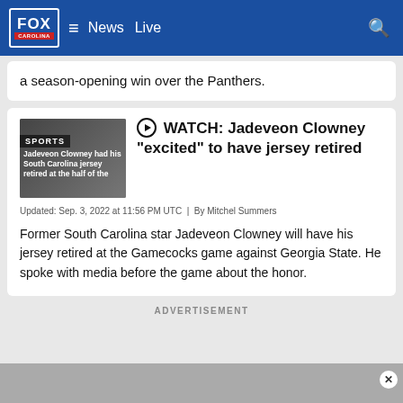FOX CAROLINA | News | Live
a season-opening win over the Panthers.
WATCH: Jadeveon Clowney "excited" to have jersey retired
Updated: Sep. 3, 2022 at 11:56 PM UTC | By Mitchel Summers
Former South Carolina star Jadeveon Clowney will have his jersey retired at the Gamecocks game against Georgia State. He spoke with media before the game about the honor.
ADVERTISEMENT